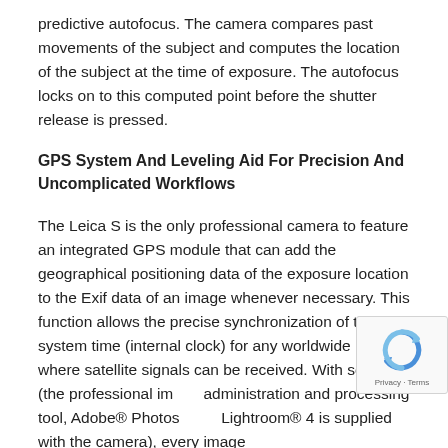predictive autofocus. The camera compares past movements of the subject and computes the location of the subject at the time of exposure. The autofocus locks on to this computed point before the shutter release is pressed.
GPS System And Leveling Aid For Precision And Uncomplicated Workflows
The Leica S is the only professional camera to feature an integrated GPS module that can add the geographical positioning data of the exposure location to the Exif data of an image whenever necessary. This function allows the precise synchronization of the system time (internal clock) for any worldwide location where satellite signals can be received. With software (the professional image administration and processing tool, Adobe® Photoshop® Lightroom® 4 is supplied with the camera), every image
[Figure (other): reCAPTCHA widget overlay showing the reCAPTCHA logo (circular arrows) with 'Privacy · Terms' text below]